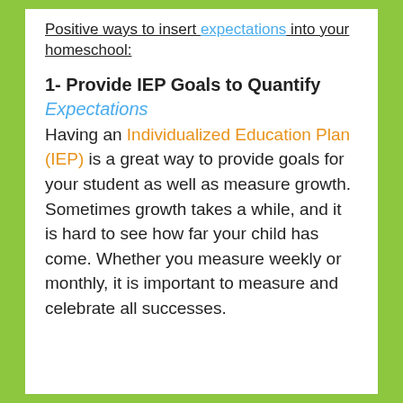Positive ways to insert expectations into your homeschool:
1- Provide IEP Goals to Quantify Expectations
Having an Individualized Education Plan (IEP) is a great way to provide goals for your student as well as measure growth. Sometimes growth takes a while, and it is hard to see how far your child has come. Whether you measure weekly or monthly, it is important to measure and celebrate all successes.